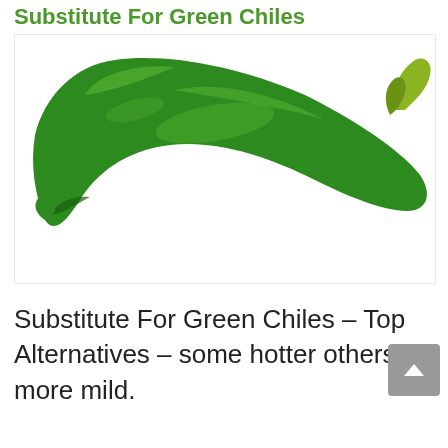Substitute For Green Chiles
[Figure (photo): A single fresh green chili pepper on a white background, curved shape with stem at top right]
Substitute For Green Chiles – Top Alternatives – some hotter others more mild.